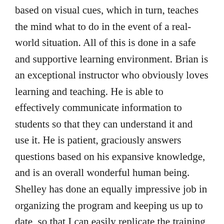based on visual cues, which in turn, teaches the mind what to do in the event of a real-world situation. All of this is done in a safe and supportive learning environment. Brian is an exceptional instructor who obviously loves learning and teaching. He is able to effectively communicate information to students so that they can understand it and use it. He is patient, graciously answers questions based on his expansive knowledge, and is an overall wonderful human being. Shelley has done an equally impressive job in organizing the program and keeping us up to date, so that I can easily replicate the training for my students. She still answers my questions regarding the program bolstering my already high regard for their continued support of providing an exceptional program. Together they are a fantastic team providing a brilliant and unique program to the self-defense industry.
(For an in-depth review of Image Based Decisional Drills,